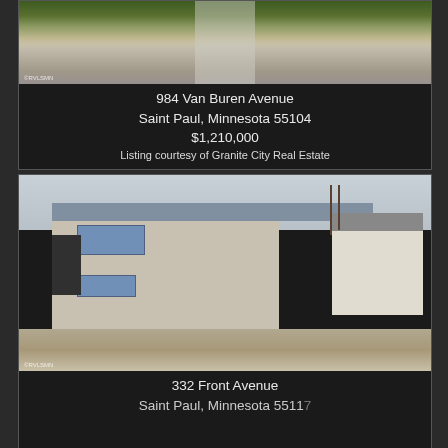[Figure (photo): Exterior photo of 984 Van Buren Avenue property showing sidewalk and grass]
984 Van Buren Avenue
Saint Paul, Minnesota 55104
$1,210,000
Listing courtesy of Granite City Real Estate
[Figure (photo): Exterior photo of 332 Front Avenue property showing multi-unit building with carport]
332 Front Avenue
Saint Paul, Minnesota 55117